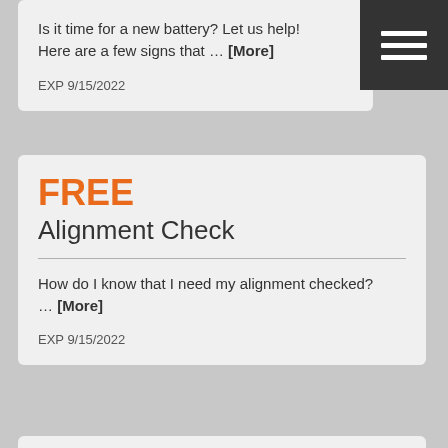Is it time for a new battery? Let us help! Here are a few signs that … [More]
EXP 9/15/2022
FREE
Alignment Check
How do I know that I need my alignment checked? … [More]
EXP 9/15/2022